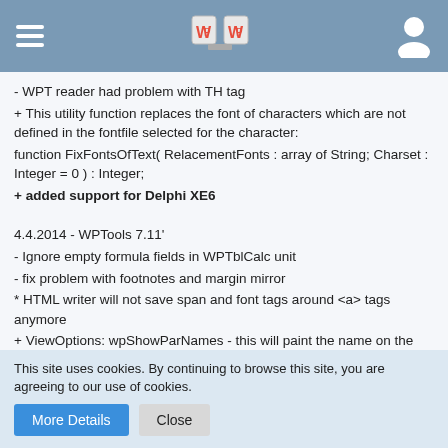WPTools header navigation bar
- WPT reader had problem with TH tag
+ This utility function replaces the font of characters which are not defined in the fontfile selected for the character:
function FixFontsOfText( RelacementFonts : array of String; Charset : Integer = 0 ) : Integer;
+ added support for Delphi XE6
4.4.2014 - WPTools 7.11'
- Ignore empty formula fields in WPTblCalc unit
- fix problem with footnotes and margin mirror
* HTML writer will not save span and font tags around <a> tags anymore
+ ViewOptions: wpShowParNames - this will paint the name on the
This site uses cookies. By continuing to browse this site, you are agreeing to our use of cookies.